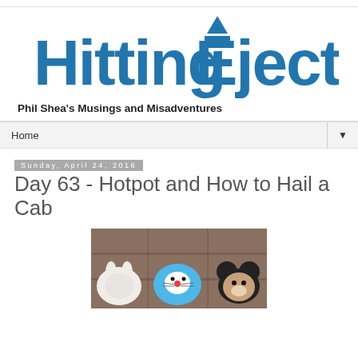[Figure (logo): Hitting Eject blog logo in blue bold text with a rocket/eject icon above the 'E']
Phil Shea's Musings and Misadventures
Home
Sunday, April 24, 2016
Day 63 - Hotpot and How to Hail a Cab
[Figure (photo): Photo of stuffed animal toys including Doraemon and Mickey Mouse]